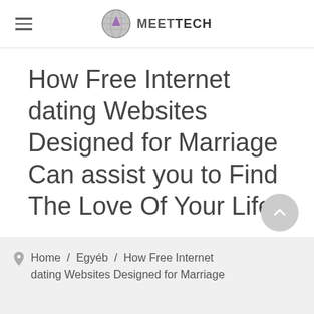MEETTECH
How Free Internet dating Websites Designed for Marriage Can assist you to Find The Love Of Your Life
Home / Egyéb / How Free Internet dating Websites Designed for Marriage